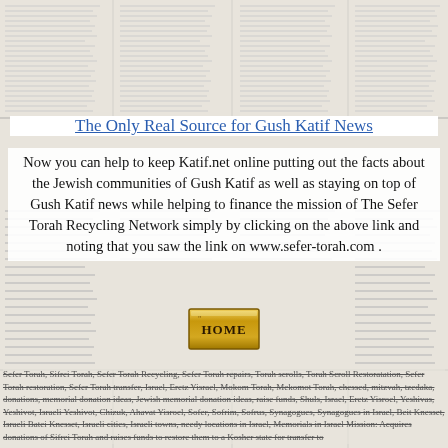[Figure (illustration): Newspaper text background filling the entire page behind the content]
The Only Real Source for Gush Katif News
Now you can help to keep Katif.net online putting out the facts about the Jewish communities of Gush Katif as well as staying on top of Gush Katif news while helping to finance the mission of The Sefer Torah Recycling Network simply by clicking on the above link and noting that you saw the link on www.sefer-torah.com .
[Figure (illustration): Gold HOME button graphic]
Sefer Torah, Sifrei Torah, Sefer Torah Recycling, Sefer Torah repairs, Torah scrolls, Torah Scroll Restoratation, Sefer Torah restoration, Sefer Torah transfer, Israel, Eretz Yisrael, Mokom Torah, Mekomot Torah, chessed, mitzvah, tzedaka, donations, memorial donation ideas, Jewish memorial donation ideas, raise funds, Shuls, Israel, Eretz Yisroel, Yeshivas, Yeshivot, Israeli Yeshivot, Chizuk, Ahavat Yisroel, Sofer, Sofrim, Sofrus, Synagogues, Synagogues in Israel, Beit Knesset, Israeli Batei Knesset, Israeli cities, Israeli towns, needy locations in Israel, Memorials in Israel Mission: Acquires donations of Sifrei Torah and raises funds to restore them to a Kosher state for transfer to